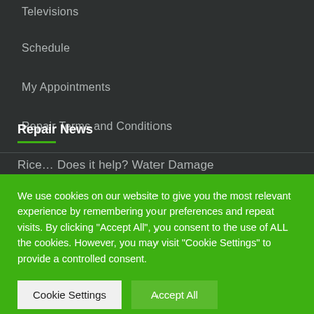Televisions
Schedule
My Appointments
Repair Terms and Conditions
Repair News
Rice… Does it help? Water Damage
We use cookies on our website to give you the most relevant experience by remembering your preferences and repeat visits. By clicking "Accept All", you consent to the use of ALL the cookies. However, you may visit "Cookie Settings" to provide a controlled consent.